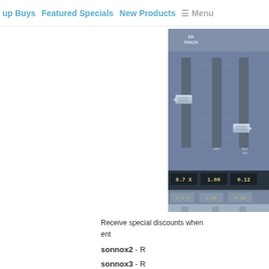up Buys   Featured Specials   New Products   Menu
[Figure (screenshot): Audio plugin UI screenshot showing mixer faders with labels ER TRACK, DRY, DLY INF and values 0.7X, 1.00, 0.12 in top section and 0.5X, 1.00, 0.45 in lower section]
Receive special discounts when ent
sonnox2 - R
sonnox3 - R
sonnox4 - R
sonnox5 - R